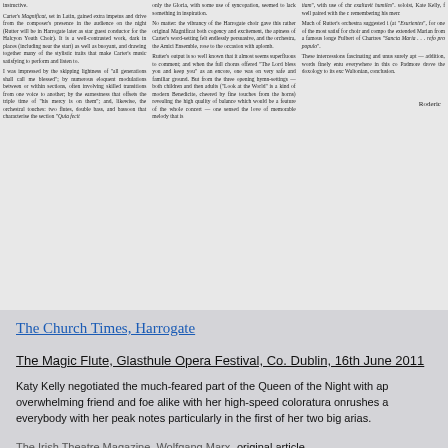[Figure (screenshot): Clipped newspaper article with three columns of text about Carter's Magnificat and Rutter's works, partially cut off at left and right edges.]
The Church Times, Harrogate
The Magic Flute, Glasthule Opera Festival, Co. Dublin, 16th June 2011
Katy Kelly negotiated the much-feared part of the Queen of the Night with ap overwhelming friend and foe alike with her high-speed coloratura onrushes a everybody with her peak notes particularly in the first of her two big arias.
The Irish Theatre Magazine, Wolfgang Marx -original article